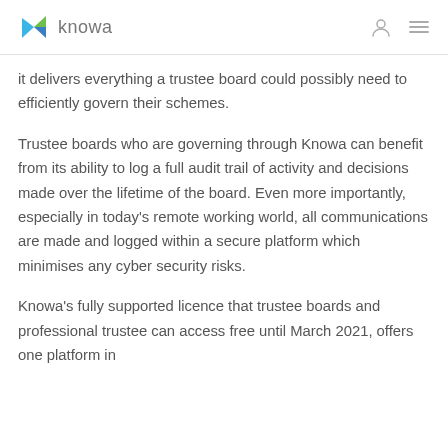knowa
it delivers everything a trustee board could possibly need to efficiently govern their schemes.
Trustee boards who are governing through Knowa can benefit from its ability to log a full audit trail of activity and decisions made over the lifetime of the board. Even more importantly, especially in today's remote working world, all communications are made and logged within a secure platform which minimises any cyber security risks.
Knowa's fully supported licence that trustee boards and professional trustee can access free until March 2021, offers one platform in